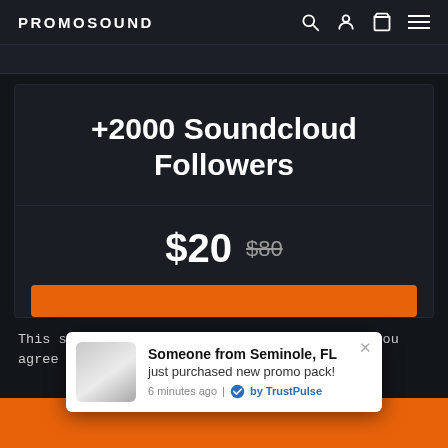PROMOSOUND
+2000 Soundcloud Followers
$20  $80
This site uses cookies. By using this site, you agree
Someone from Seminole, FL
just purchased new promo pack!
6 minutes ago | by TrustPulse